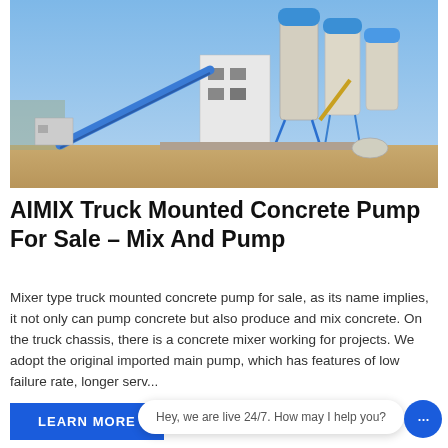[Figure (photo): Outdoor photo of a concrete batching plant with blue silos, conveyor belt, and tower structure under a clear blue sky.]
AIMIX Truck Mounted Concrete Pump For Sale – Mix And Pump
Mixer type truck mounted concrete pump for sale, as its name implies, it not only can pump concrete but also produce and mix concrete. On the truck chassis, there is a concrete mixer working for projects. We adopt the original imported main pump, which has features of low failure rate, longer serv...